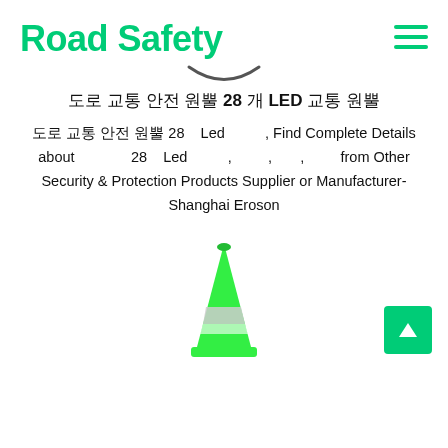Road Safety
[Figure (illustration): Small decorative arc/divider under the Road Safety logo]
도로 교통 안전 원뿔 28 개 LED 교통 원뿔
도로 교통 안전 원뿔 28 Led 교통 원뿔, Find Complete Details about 도로 교통 안전 원뿔 28 Led 교통 원뿔, 교통 원뿔, 교통 원뿔, 원뿔 from Other Security & Protection Products Supplier or Manufacturer-Shanghai Eroson
[Figure (photo): Green traffic cone with reflective white band, bottom partially visible]